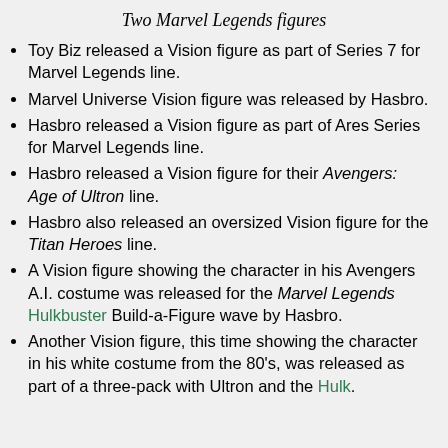Two Marvel Legends figures
Toy Biz released a Vision figure as part of Series 7 for Marvel Legends line.
Marvel Universe Vision figure was released by Hasbro.
Hasbro released a Vision figure as part of Ares Series for Marvel Legends line.
Hasbro released a Vision figure for their Avengers: Age of Ultron line.
Hasbro also released an oversized Vision figure for the Titan Heroes line.
A Vision figure showing the character in his Avengers A.I. costume was released for the Marvel Legends Hulkbuster Build-a-Figure wave by Hasbro.
Another Vision figure, this time showing the character in his white costume from the 80's, was released as part of a three-pack with Ultron and the Hulk.